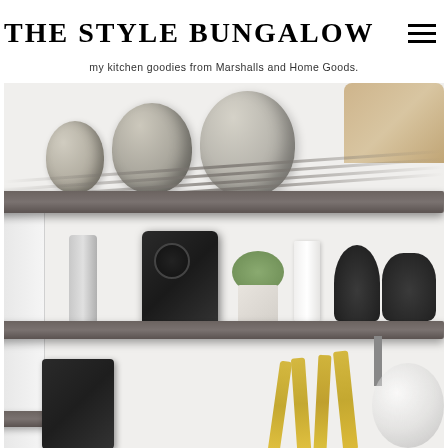THE STYLE BUNGALOW
my kitchen goodies from Marshalls and Home Goods.
[Figure (photo): Kitchen open shelving with gray wooden shelves holding stainless steel pots and pans on the upper shelf, a Nespresso coffee machine, succulent plant, white candle, and black decorative items on the middle shelf, and gold utensils on the lower shelf.]